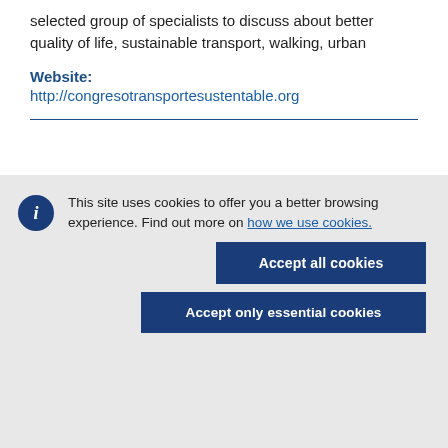selected group of specialists to discuss about better quality of life, sustainable transport, walking, urban
Website:
http://congresotransportesustentable.org
This site uses cookies to offer you a better browsing experience. Find out more on how we use cookies.
Accept all cookies
Accept only essential cookies